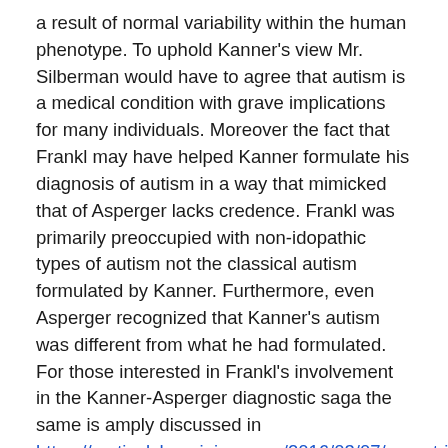a result of normal variability within the human phenotype. To uphold Kanner's view Mr. Silberman would have to agree that autism is a medical condition with grave implications for many individuals. Moreover the fact that Frankl may have helped Kanner formulate his diagnosis of autism in a way that mimicked that of Asperger lacks credence. Frankl was primarily preoccupied with non-idopathic types of autism not the classical autism formulated by Kanner. Furthermore, even Asperger recognized that Kanner's autism was different from what he had formulated. For those interested in Frankl's involvement in the Kanner-Asperger diagnostic saga the same is amply discussed in https://corticalchauvinism.com/2016/03/07/neurotribes-how-the-cookie-crumbles/ .
Dr. Harris offers more severe criticisms of Mr. Silberman's